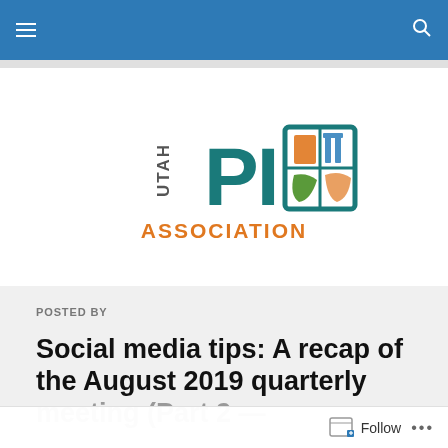Utah PIO Association website header navigation
[Figure (logo): Utah PIO Association logo with teal 'PIO' letters and orange 'ASSOCIATION' text, featuring a quadrant icon with illustrated figures]
POSTED BY
Social media tips: A recap of the August 2019 quarterly meeting (Part 2 — Public…